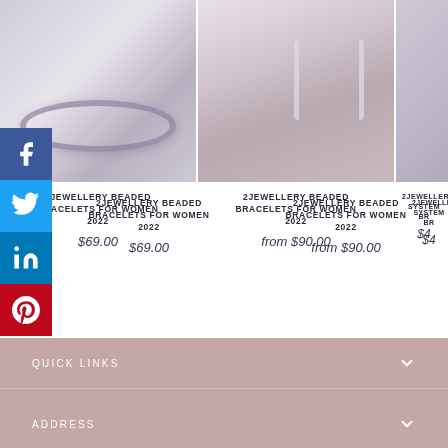[Figure (photo): Product listing page for 2Jewellery beaded bracelets, showing two product images side by side with a partial third product at the right edge. Social media icons (Facebook, Twitter, LinkedIn, Pinterest) appear on the left edge.]
2JEWELLERY BEADED BRACELETS FOR WOMEN 2022
$69.00
2JEWELLERY BEADED BRACELETS FOR WOMEN 2022
from $90.00
2JEWELLERY SYSTEM BR...
$4...
QUICK LINKS
ADDRESS